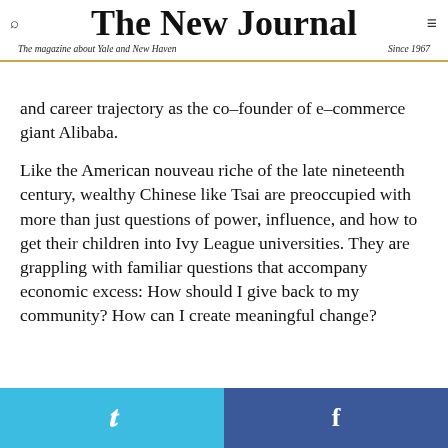The New Journal — The magazine about Yale and New Haven — Since 1967
and career trajectory as the co-founder of e-commerce giant Alibaba.
Like the American nouveau riche of the late nineteenth century, wealthy Chinese like Tsai are preoccupied with more than just questions of power, influence, and how to get their children into Ivy League universities. They are grappling with familiar questions that accompany economic excess: How should I give back to my community? How can I create meaningful change?
Twitter | Facebook